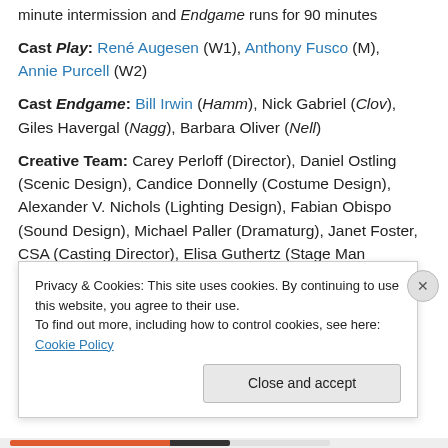minute intermission and Endgame runs for 90 minutes
Cast Play: René Augesen (W1), Anthony Fusco (M), Annie Purcell (W2)
Cast Endgame: Bill Irwin (Hamm), Nick Gabriel (Clov), Giles Havergal (Nagg), Barbara Oliver (Nell)
Creative Team: Carey Perloff (Director), Daniel Ostling (Scenic Design), Candice Donnelly (Costume Design), Alexander V. Nichols (Lighting Design), Fabian Obispo (Sound Design), Michael Paller (Dramaturg), Janet Foster, CSA (Casting Director), Elisa Guthertz (Stage Man...
Privacy & Cookies: This site uses cookies. By continuing to use this website, you agree to their use.
To find out more, including how to control cookies, see here: Cookie Policy
Close and accept